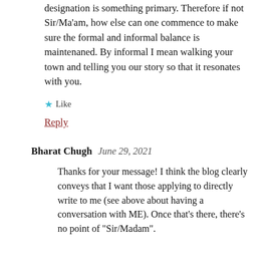designation is something primary. Therefore if not Sir/Ma'am, how else can one commence to make sure the formal and informal balance is maintenaned. By informal I mean walking your town and telling you our story so that it resonates with you.
★ Like
Reply
Bharat Chugh   June 29, 2021
Thanks for your message! I think the blog clearly conveys that I want those applying to directly write to me (see above about having a conversation with ME). Once that's there, there's no point of "Sir/Madam".